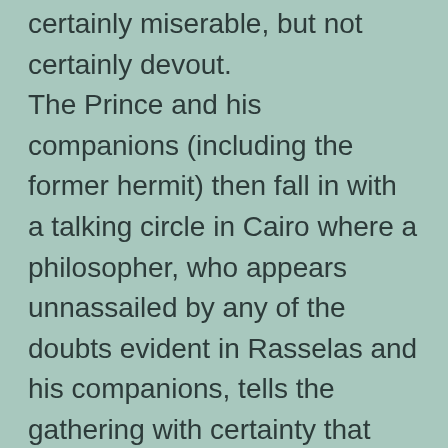certainly miserable, but not certainly devout. The Prince and his companions (including the former hermit) then fall in with a talking circle in Cairo where a philosopher, who appears unnassailed by any of the doubts evident in Rasselas and his companions, tells the gathering with certainty that happiness lies in living according to nature. When challenged about what this actually means he replies: “To live according to nature is to act always with due regard to the fitness arising from the relations and qualities of causes and effects; to concur with the great and unchangeable scheme of universal felicity; to cooperate with